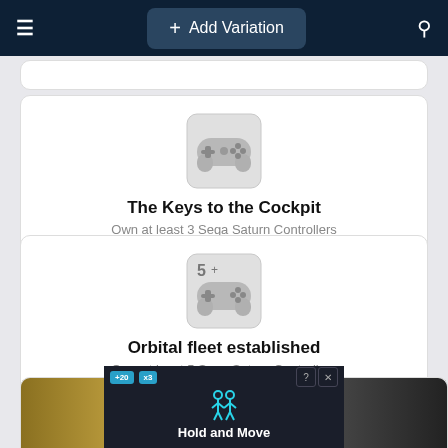+ Add Variation
The Keys to the Cockpit
Own at least 3 Sega Saturn Controllers
Orbital fleet established
Own at least 5 Sega Saturn Controllers
[Figure (screenshot): Ad overlay showing 'Hold and Move' with cyan person icon on dark background, with road sign photo behind]